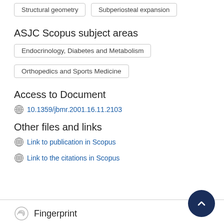Structural geometry
Subperiosteal expansion
ASJC Scopus subject areas
Endocrinology, Diabetes and Metabolism
Orthopedics and Sports Medicine
Access to Document
10.1359/jbmr.2001.16.11.2103
Other files and links
Link to publication in Scopus
Link to the citations in Scopus
Fingerprint